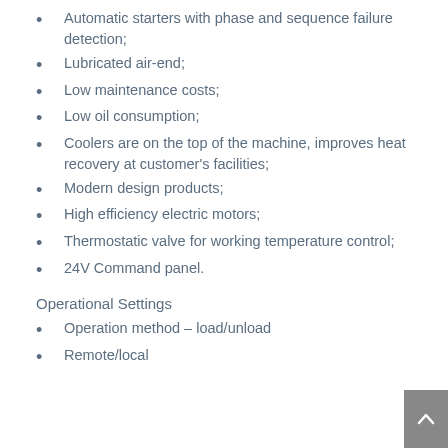Automatic starters with phase and sequence failure detection;
Lubricated air-end;
Low maintenance costs;
Low oil consumption;
Coolers are on the top of the machine, improves heat recovery at customer's facilities;
Modern design products;
High efficiency electric motors;
Thermostatic valve for working temperature control;
24V Command panel.
Operational Settings
Operation method – load/unload
Remote/local